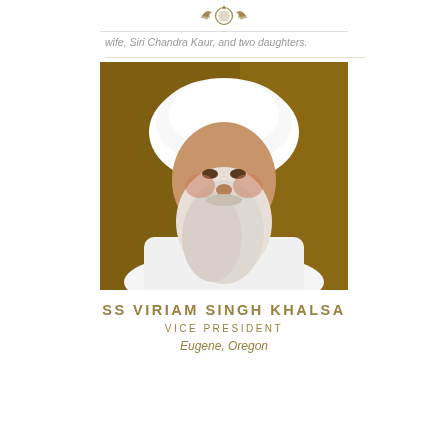[Organization emblem/logo]
wife, Siri Chandra Kaur, and two daughters.
[Figure (photo): Portrait photo of SS Viriam Singh Khalsa, an elderly man with a long white beard wearing a white turban and white clothing, photographed against a brown/golden background.]
SS VIRIAM SINGH KHALSA
VICE PRESIDENT
Eugene, Oregon